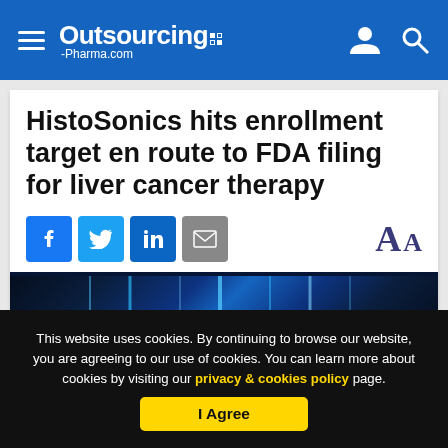Outsourcing-Pharma.com
HistoSonics hits enrollment target en route to FDA filing for liver cancer therapy
[Figure (screenshot): Article header image showing blue glowing medical scan or anatomy imagery on dark background]
This website uses cookies. By continuing to browse our website, you are agreeing to our use of cookies. You can learn more about cookies by visiting our privacy & cookies policy page.